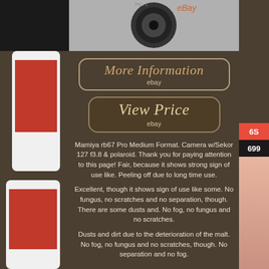[Figure (screenshot): eBay listing page screenshot with product images on left and right sides]
[Figure (other): More Information button with eBay text - rounded rectangle border with italic orange text]
[Figure (other): View Price button with eBay text - rounded rectangle border with italic beige text]
Mamiya rb67 Pro Medium Format. Camera w/Sekor 127 f3.8 & polaroid. Thank you for paying attention to this page! Fair, because it shows strong sign of use like. Peeling off due to long time use.
Excellent, though it shows sign of use like some. No fungus, no scratches and no separation, though. There are some dusts and. No fog, no fungus and no scratches.
Dusts and dirt due to the deterioration of the malt. No fog, no fungus and no scratches, though. No separation and no fog.